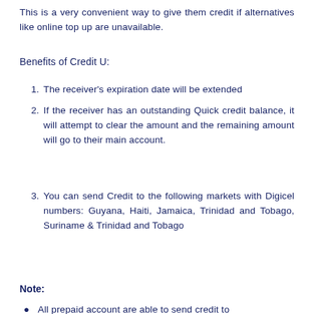This is a very convenient way to give them credit if alternatives like online top up are unavailable.
Benefits of Credit U:
1. The receiver's expiration date will be extended
2. If the receiver has an outstanding Quick credit balance, it will attempt to clear the amount and the remaining amount will go to their main account.
3. You can send Credit to the following markets with Digicel numbers: Guyana, Haiti, Jamaica, Trinidad and Tobago, Suriname & Trinidad and Tobago
Note:
All prepaid account are able to send credit to